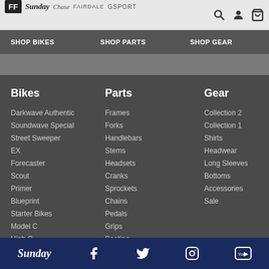FF Sunday Chase Fairdale Gsport
SHOP BIKES
SHOP PARTS
SHOP GEAR
Bikes
Darkwave Authentic
Soundwave Special
Street Sweeper
EX
Forecaster
Scout
Primer
Blueprint
Starter Bikes
Model C
High C
Previous Models
Parts
Frames
Forks
Handlebars
Stems
Headsets
Cranks
Sprockets
Chains
Pedals
Grips
Seating
Tires
Wheels
Rims
Hubs
Spokes
Pegs
Brakes
Small Parts
Sale
Gear
Collection 2
Collection 1
Shirts
Headwear
Long Sleeves
Bottoms
Accessories
Sale
Sunday - Facebook Twitter Instagram YouTube